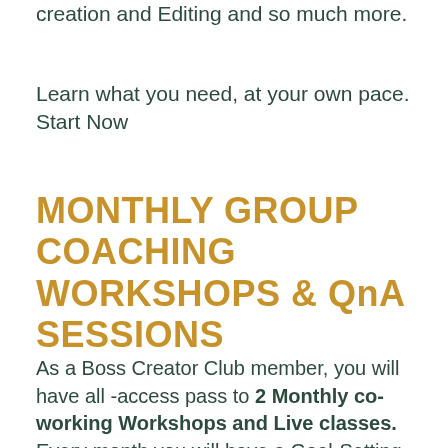creation and Editing and so much more.
Learn what you need, at your own pace. Start Now
MONTHLY GROUP COACHING WORKSHOPS & QnA SESSIONS
As a Boss Creator Club member, you will have all -access pass to 2 Monthly co-working Workshops and Live classes. Every month you will have a Goal-Setting and QnA workshop, plus a Monthly Training specifically to help you create better products and earn more